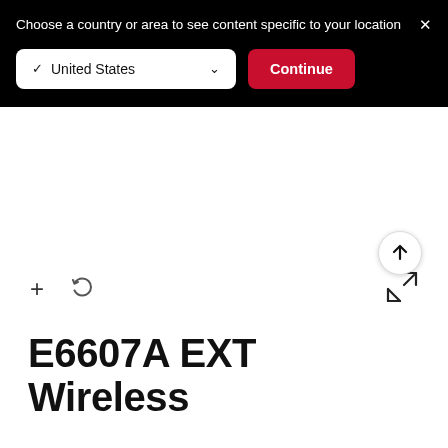Choose a country or area to see content specific to your location
[Figure (screenshot): Country selector dropdown showing 'United States' with checkmark and chevron, plus a red 'Continue' button, on black background]
[Figure (screenshot): White content area with zoom (+), rotate, and expand icons at bottom. Scroll-to-top circular button at bottom right.]
E6607A EXT Wireless